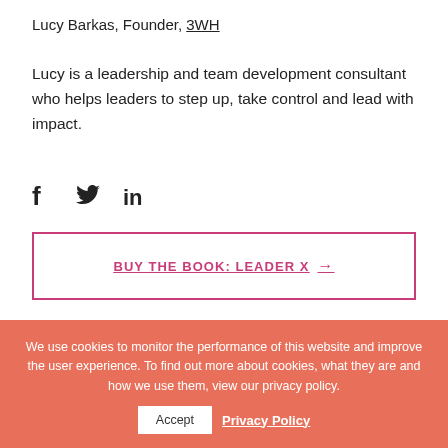Lucy Barkas, Founder, 3WH
Lucy is a leadership and team development consultant who helps leaders to step up, take control and lead with impact.
[Figure (illustration): Social media icons: Facebook (f), Twitter (bird), LinkedIn (in)]
BUY THE BOOK: LEADER X →
We use cookies to monitor the performance of this website and improve the user experience. To find out more about cookies, what they are and how we use them, view our privacy policy.
Accept   Privacy Policy